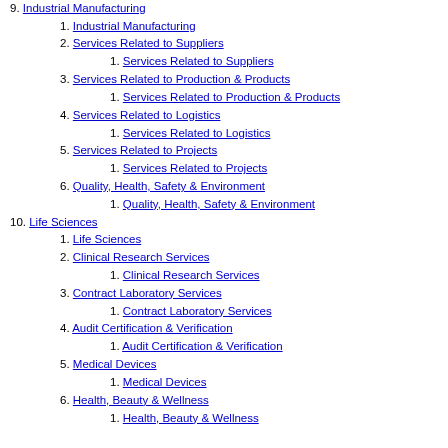1. Customer Support Services
9. Industrial Manufacturing
1. Industrial Manufacturing
2. Services Related to Suppliers
1. Services Related to Suppliers
3. Services Related to Production & Products
1. Services Related to Production & Products
4. Services Related to Logistics
1. Services Related to Logistics
5. Services Related to Projects
1. Services Related to Projects
6. Quality, Health, Safety & Environment
1. Quality, Health, Safety & Environment
10. Life Sciences
1. Life Sciences
2. Clinical Research Services
1. Clinical Research Services
3. Contract Laboratory Services
1. Contract Laboratory Services
4. Audit Certification & Verification
1. Audit Certification & Verification
5. Medical Devices
1. Medical Devices
6. Health, Beauty & Wellness
1. Health, Beauty & Wellness